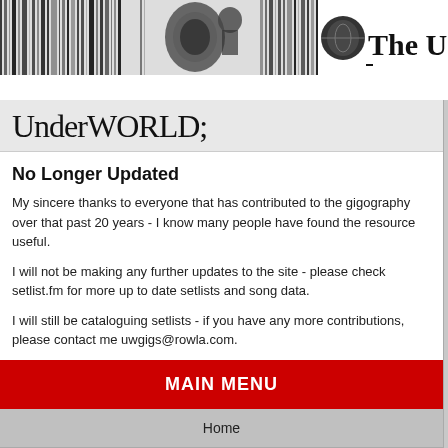[Figure (screenshot): Website header banner with black and white striped/abstract photographic pattern and globe imagery on left portion, and text 'The Un' (Underworld logo/wordmark) on right portion]
UnderWORLD;
No Longer Updated
My sincere thanks to everyone that has contributed to the gigography over that past 20 years - I know many people have found the resource useful.
I will not be making any further updates to the site - please check setlist.fm for more up to date setlists and song data.
I will still be cataloguing setlists - if you have any more contributions, please contact me uwgigs@rowla.com.
MAIN MENU
Home